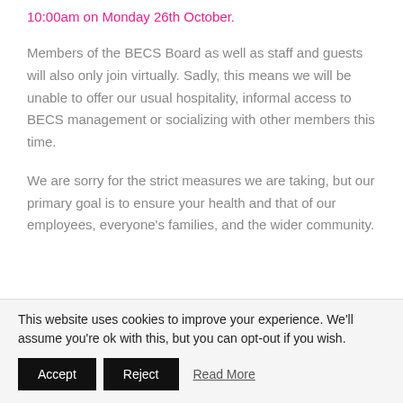10:00am on Monday 26th October.
Members of the BECS Board as well as staff and guests will also only join virtually. Sadly, this means we will be unable to offer our usual hospitality, informal access to BECS management or socializing with other members this time.
We are sorry for the strict measures we are taking, but our primary goal is to ensure your health and that of our employees, everyone's families, and the wider community.
This website uses cookies to improve your experience. We'll assume you're ok with this, but you can opt-out if you wish.
Accept  Reject  Read More